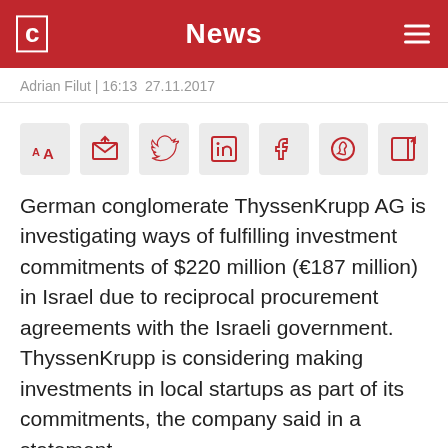News
Adrian Filut | 16:13  27.11.2017
[Figure (other): Row of social sharing icons: font size, email, Twitter, LinkedIn, Facebook, WhatsApp, edit/share]
German conglomerate ThyssenKrupp AG is investigating ways of fulfilling investment commitments of $220 million (€187 million) in Israel due to reciprocal procurement agreements with the Israeli government. ThyssenKrupp is considering making investments in local startups as part of its commitments, the company said in a statement.
For daily updates, subscribe to our newsletter by clicking here.
Germany-based ThyssenKrupp is one of the world's